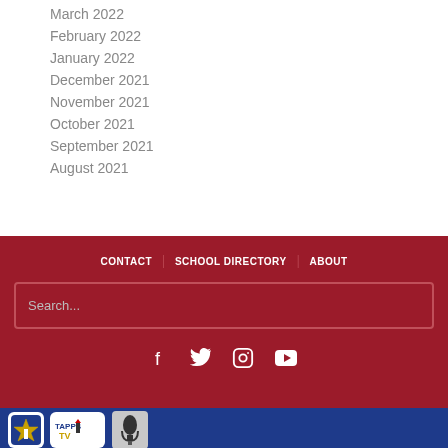March 2022
February 2022
January 2022
December 2021
November 2021
October 2021
September 2021
August 2021
CONTACT  SCHOOL DIRECTORY  ABOUT  Search...  [social icons: Facebook, Twitter, Instagram, YouTube]